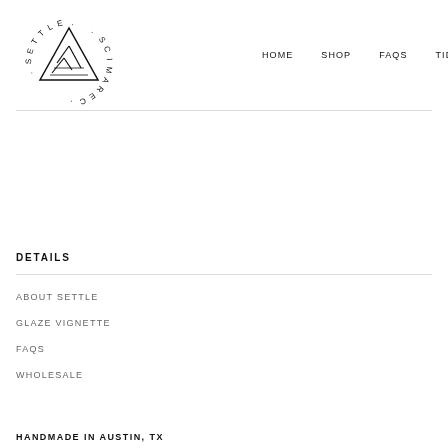[Figure (logo): Settle Ceramics circular text logo with triangle/mountain icon in center]
HOME   SHOP   FAQS   TIDBITS   CART
DETAILS
ABOUT SETTLE
GLAZE VIGNETTE
FAQS
WHOLESALE
HANDMADE IN AUSTIN, TX